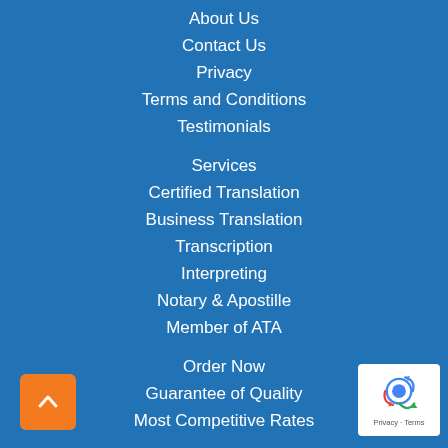About Us
Contact Us
Privacy
Terms and Conditions
Testimonials
Services
Certified Translation
Business Translation
Transcription
Interpreting
Notary & Apostille
Member of ATA
Order Now
Guarantee of Quality
Most Competitive Rates
[Figure (other): Back to top button (orange square with upward chevron arrow)]
[Figure (other): Google reCAPTCHA badge with robot icon and Privacy - Terms links]